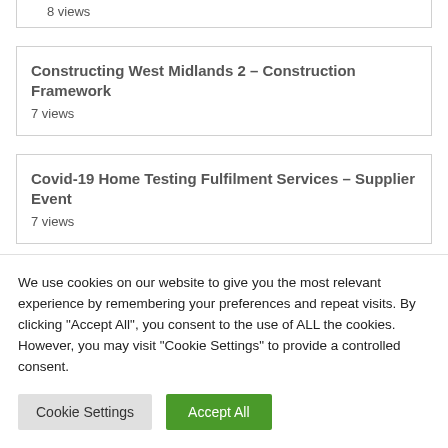8 views
Constructing West Midlands 2 – Construction Framework
7 views
Covid-19 Home Testing Fulfilment Services – Supplier Event
7 views
AESP and Technical Documentation Support Contract
We use cookies on our website to give you the most relevant experience by remembering your preferences and repeat visits. By clicking "Accept All", you consent to the use of ALL the cookies. However, you may visit "Cookie Settings" to provide a controlled consent.
Cookie Settings
Accept All